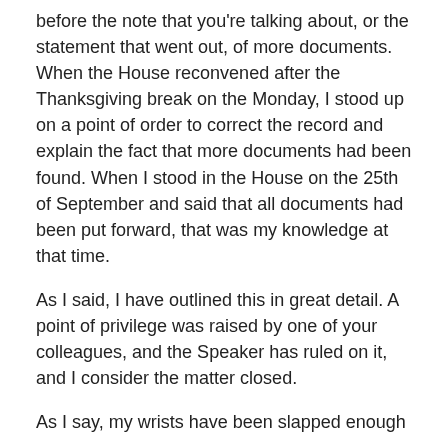before the note that you're talking about, or the statement that went out, of more documents. When the House reconvened after the Thanksgiving break on the Monday, I stood up on a point of order to correct the record and explain the fact that more documents had been found. When I stood in the House on the 25th of September and said that all documents had been put forward, that was my knowledge at that time.
As I said, I have outlined this in great detail. A point of privilege was raised by one of your colleagues, and the Speaker has ruled on it, and I consider the matter closed.
As I say, my wrists have been slapped enough—
Mr. John Yakabuski: The question is closed. Thank you very much.
Hon. John Milloy: —without referring to another Speaker's ruling.